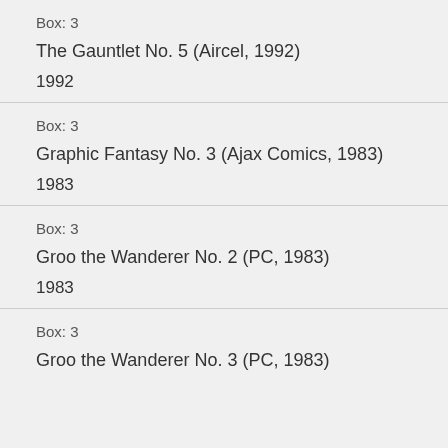Box: 3
The Gauntlet No. 5 (Aircel, 1992)
1992
Box: 3
Graphic Fantasy No. 3 (Ajax Comics, 1983)
1983
Box: 3
Groo the Wanderer No. 2 (PC, 1983)
1983
Box: 3
Groo the Wanderer No. 3 (PC, 1983)